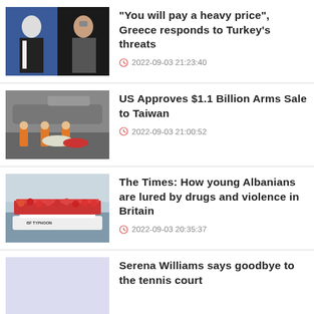[Figure (photo): Two politicians side by side, one in a suit, one gesturing]
"You will pay a heavy price", Greece responds to Turkey's threats
2022-09-03 21:23:40
[Figure (photo): Military personnel loading missiles or equipment onto an aircraft]
US Approves $1.1 Billion Arms Sale to Taiwan
2022-09-03 21:00:52
[Figure (photo): Overcrowded boat with migrants, vessel named BF TYPHOON]
The Times: How young Albanians are lured by drugs and violence in Britain
2022-09-03 20:35:37
[Figure (photo): Light purple/lavender placeholder image]
Serena Williams says goodbye to the tennis court